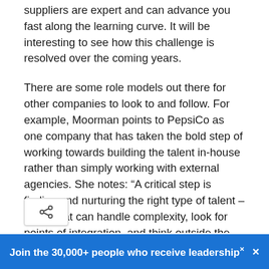suppliers are expert and can advance you fast along the learning curve. It will be interesting to see how this challenge is resolved over the coming years.
There are some role models out there for other companies to look to and follow. For example, Moorman points to PepsiCo as one company that has taken the bold step of working towards building the talent in-house rather than simply working with external agencies. She notes: “A critical step is finding and nurturing the right type of talent – talent that can handle complexity, look for points of integration, and think outside the box. Not all companies are in a position to take this step. External agencies offer critical support to many companies as they begin this p[rocess] or over the long run as they build strategic
Join the 30,000+ people who receive leadership